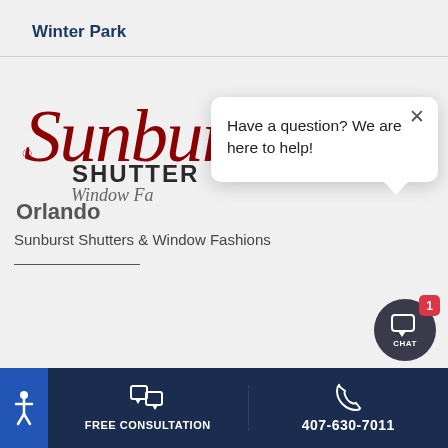Winter Park
[Figure (logo): Sunburst Shutters & Window Fashions logo — cursive red 'Sunburst' script above bold 'SHUTTERS' and italic 'Window Fashions' text]
Orlando
Sunburst Shutters & Window Fashions
[Figure (screenshot): Chat popup overlay with close X button and text: Have a question? We are here to help!]
FREE CONSULTATION | 407-630-7011